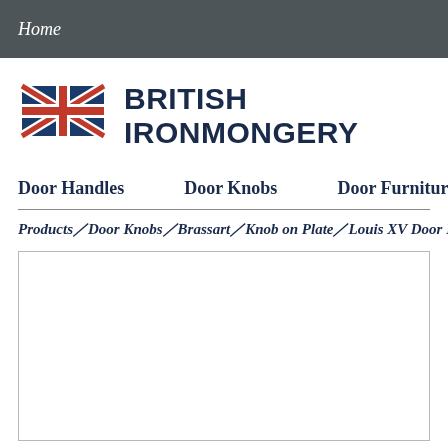Home
[Figure (logo): British Ironmongery logo with Union Jack flag icon and bold text BRITISH IRONMONGERY]
Door Handles
Door Knobs
Door Furniture
Products／Door Knobs／Brassart／Knob on Plate／Louis XV Door Knob o